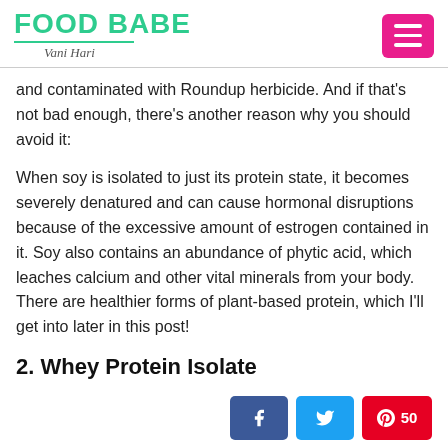FOOD BABE Vani Hari
and contaminated with Roundup herbicide. And if that's not bad enough, there's another reason why you should avoid it:
When soy is isolated to just its protein state, it becomes severely denatured and can cause hormonal disruptions because of the excessive amount of estrogen contained in it. Soy also contains an abundance of phytic acid, which leaches calcium and other vital minerals from your body. There are healthier forms of plant-based protein, which I'll get into later in this post!
2. Whey Protein Isolate
[Figure (other): Social sharing buttons: Facebook, Twitter, Pinterest with count 50]